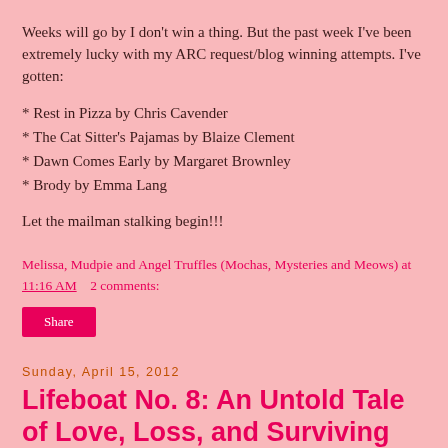Weeks will go by I don't win a thing. But the past week I've been extremely lucky with my ARC request/blog winning attempts. I've gotten:
* Rest in Pizza by Chris Cavender
* The Cat Sitter's Pajamas by Blaize Clement
* Dawn Comes Early by Margaret Brownley
* Brody by Emma Lang
Let the mailman stalking begin!!!
Melissa, Mudpie and Angel Truffles (Mochas, Mysteries and Meows) at 11:16 AM    2 comments:
Share
Sunday, April 15, 2012
Lifeboat No. 8: An Untold Tale of Love, Loss, and Surviving the Titanic (Kindle